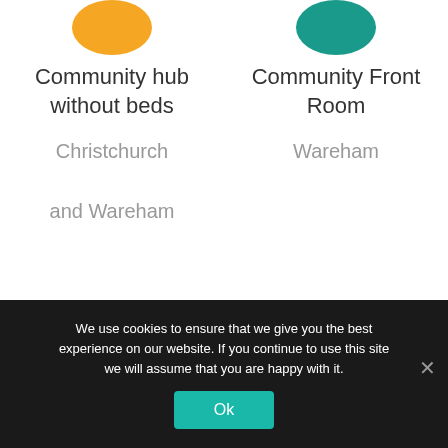[Figure (illustration): Yellow ellipse/circle partially visible at top of left column]
Community hub without beds
Christchurch

and Wareham
[Figure (illustration): Teal ellipse/circle partially visible at top of right column]
Community Front Room
Wareham
We use cookies to ensure that we give you the best experience on our website. If you continue to use this site we will assume that you are happy with it.
Ok